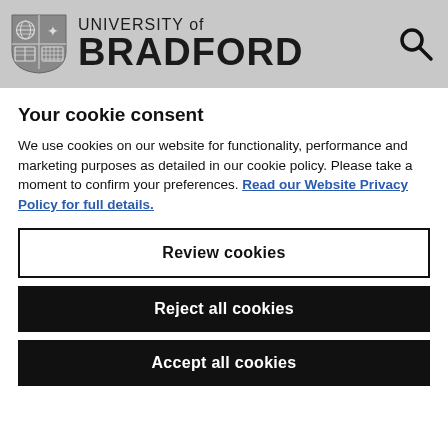[Figure (logo): University of Bradford logo with shield emblem and search icon in grey header bar]
Your cookie consent
We use cookies on our website for functionality, performance and marketing purposes as detailed in our cookie policy. Please take a moment to confirm your preferences. Read our Website Privacy Policy for full details.
Review cookies
Reject all cookies
Accept all cookies